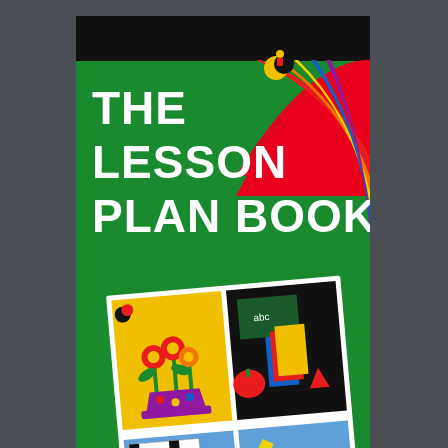[Figure (illustration): Book cover for 'The Lesson Plan Book' published by Creative Teaching Press. Green background with black top border. Large white bold text reads 'THE LESSON PLAN BOOK'. A rainbow arcs across the upper right. A small Creative Teaching Press logo (moon and figure) appears at top center. Center of cover shows four illustrated panels (a tilted book/page layout): top-left panel shows colorful flowers in a vase on yellow background; top-right panel shows books, an apple, and school supplies on black background; bottom-left panel shows a crossword puzzle and a red horse on blue background; bottom-right panel shows a ruler, star, and school supplies on blue background. A rainbow band appears along the bottom left. Small text at bottom reads 'Creative Teaching Press'.]
Click on image above to read more about this book